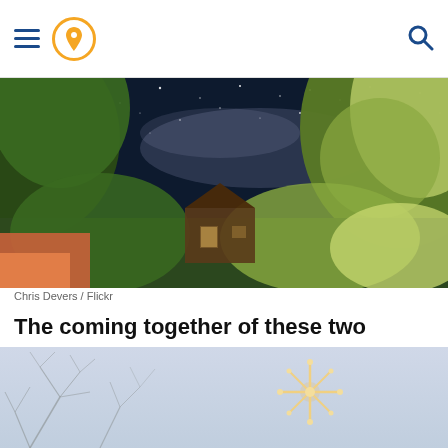Navigation header with hamburger menu, location pin icon, and search icon
[Figure (photo): Night sky panoramic photo showing the Milky Way above a house surrounded by trees and foliage, with an orange foreground element. Credit: Chris Devers / Flickr]
Chris Devers / Flickr
The coming together of these two planets will appear as one giant bright star. One could think of it as a bright star atop a Christmas tree, a Christmas tree in the sky.
[Figure (photo): Advertisement or promotional banner with winter/Christmas scene showing bare branches and snowflake light decoration on a blue-grey gradient background]